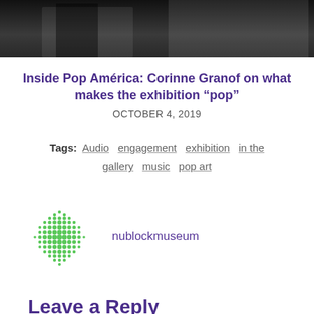[Figure (photo): Top portion of a photo showing people in dark clothing at what appears to be an art exhibition or gallery event]
Inside Pop América: Corinne Granof on what makes the exhibition “pop”
OCTOBER 4, 2019
Tags: Audio  engagement  exhibition  in the gallery  music  pop art
[Figure (logo): Green dot-grid pattern logo for nublockmuseum]
nublockmuseum
Leave a Reply